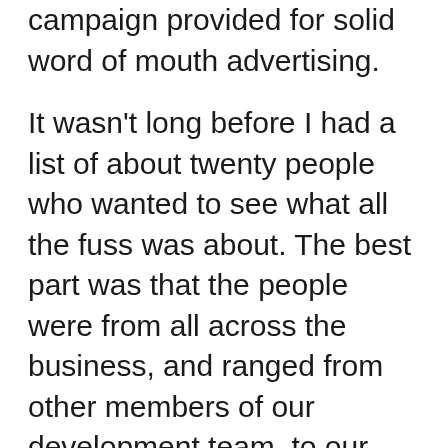campaign provided for solid word of mouth advertising.
It wasn't long before I had a list of about twenty people who wanted to see what all the fuss was about. The best part was that the people were from all across the business, and ranged from other members of our development team, to our support department, all the way through to marketing.
Having discovered in the first season that seven players and one DM is somewhat challenging to run (similar to how large teams get less effective), the goal was to try and limit each group to five players. Using the power of maths, that meant we